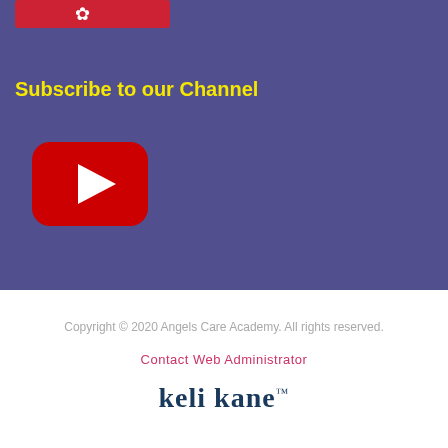[Figure (logo): Yelp logo icon on red bar at top]
Subscribe to our Channel
[Figure (logo): YouTube play button logo (red rounded rectangle with white triangle)]
Copyright © 2020 Angels Care Academy. All rights reserved.
Contact Web Administrator
[Figure (logo): keli kane™ brand logo in dark navy serif font]